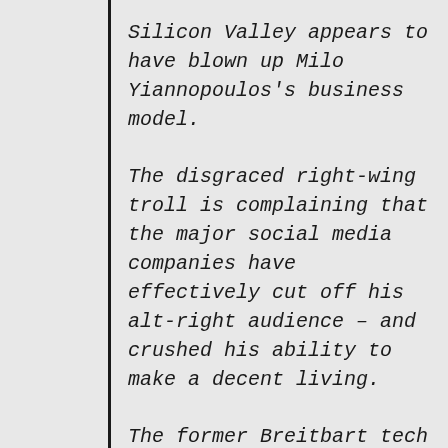Silicon Valley appears to have blown up Milo Yiannopoulos's business model.
The disgraced right-wing troll is complaining that the major social media companies have effectively cut off his alt-right audience – and crushed his ability to make a decent living.
The former Breitbart tech writer shared the complaints